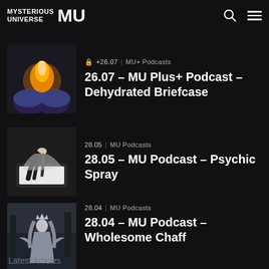MYSTERIOUS UNIVERSE MU
🔒 +26.07 | MU+ Podcasts
26.07 - MU Plus+ Podcast - Dehydrated Briefcase
[Figure (photo): Glowing flame held between two blue hands]
28.05 | MU Podcasts
28.05 - MU Podcast - Psychic Spray
[Figure (photo): Person in sheer white fabric floating or falling]
28.04 | MU Podcasts
28.04 - MU Podcast - Wholesome Chaff
[Figure (photo): Woman in grey dress and crown holding a bird]
Latest Articles